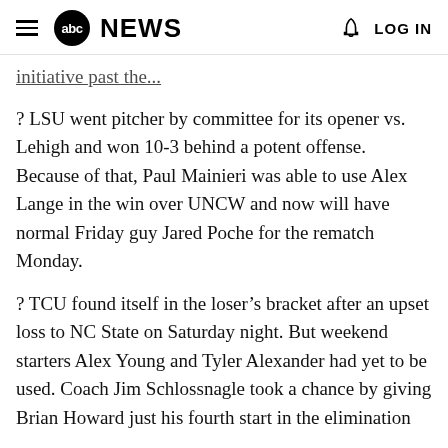abc NEWS  LOG IN
initiative past the...
? LSU went pitcher by committee for its opener vs. Lehigh and won 10-3 behind a potent offense. Because of that, Paul Mainieri was able to use Alex Lange in the win over UNCW and now will have normal Friday guy Jared Poche for the rematch Monday.
? TCU found itself in the loser's bracket after an upset loss to NC State on Saturday night. But weekend starters Alex Young and Tyler Alexander had yet to be used. Coach Jim Schlossnagle took a chance by giving Brian Howard just his fourth start in the elimination